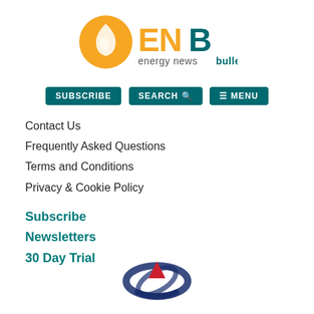[Figure (logo): ENB Energy News Bulletin logo with orange flame/leaf icon and teal text]
[Figure (other): Navigation buttons: SUBSCRIBE, SEARCH (with magnifier icon), MENU (with hamburger icon)]
Contact Us
Frequently Asked Questions
Terms and Conditions
Privacy & Cookie Policy
Subscribe
Newsletters
30 Day Trial
[Figure (logo): CPC (Chinese Petroleum Corporation) or similar company logo — stylized satellite dish with red triangle, blue swirl, bottom of page]